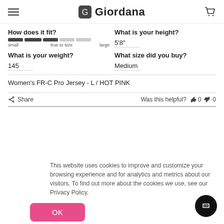Giordana
How does it fit?
small   true to size   large
What is your height?
5'8"
What is your weight?
145
What size did you buy?
Medium
Women's FR-C Pro Jersey - L / HOT PINK
Share   Was this helpful?  0  0
This website uses cookies to improve and customize your browsing experience and for analytics and metrics about our visitors. To find out more about the cookies we use, see our Privacy Policy.